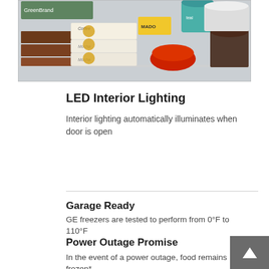[Figure (photo): Photo of a freezer shelf interior with various food items including ice cream containers, boxes, and frozen foods on wire shelving]
LED Interior Lighting
Interior lighting automatically illuminates when door is open
Garage Ready
GE freezers are tested to perform from 0°F to 110°F
Power Outage Promise
In the event of a power outage, food remains frozen*